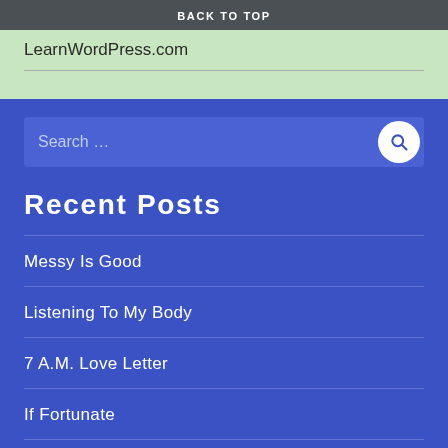BACK TO TOP
LearnWordPress.com
Recent Posts
Messy Is Good
Listening To My Body
7 A.M. Love Letter
If Fortunate
For The Sake Of Love